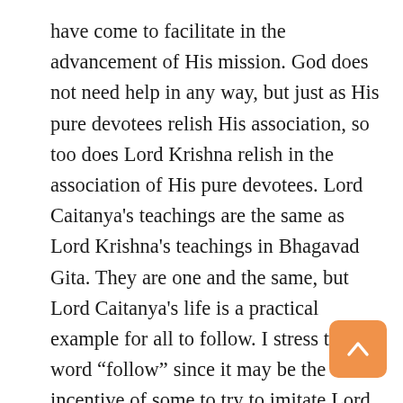have come to facilitate in the advancement of His mission. God does not need help in any way, but just as His pure devotees relish His association, so too does Lord Krishna relish in the association of His pure devotees. Lord Caitanya's teachings are the same as Lord Krishna's teachings in Bhagavad Gita. They are one and the same, but Lord Caitanya's life is a practical example for all to follow. I stress the word “follow” since it may be the incentive of some to try to imitate Lord Sri Caitanya. That is not endorsed, or even possible. God cannot be imitated, but His teachings can be followed, and that is what we are
[Figure (other): Orange rounded square button with upward-pointing chevron arrow, used as a scroll-to-top navigation button]